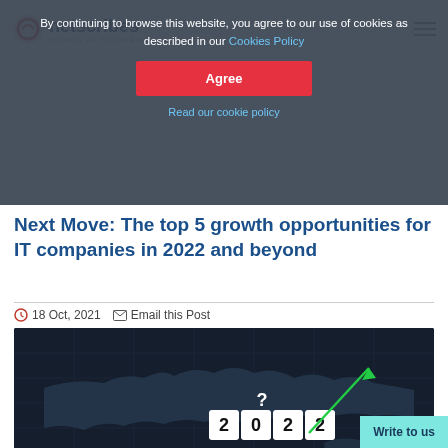netscribes - Source of Knowledge
By continuing to browse this website, you agree to our use of cookies as described in our Cookies Policy
Agree
Read our cookie policy
Next Move: The top 5 growth opportunities for IT companies in 2022 and beyond
18 Oct, 2021   Email this Post
[Figure (photo): Dark world map with '2022 RECOVERY' text and dice showing 2022, a green upward arrow and red downward arrow indicating market recovery trends]
Resilience has now become the most crucial agenda for every company across the IT industry. One and a half of the black swan event that sh...